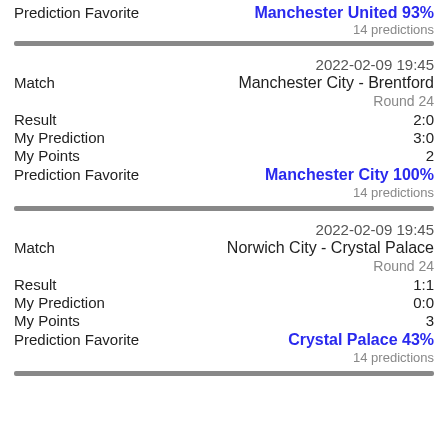Prediction Favorite   Manchester United 93%
14 predictions
2022-02-09 19:45
Match   Manchester City - Brentford
Round 24
Result   2:0
My Prediction   3:0
My Points   2
Prediction Favorite   Manchester City 100%
14 predictions
2022-02-09 19:45
Match   Norwich City - Crystal Palace
Round 24
Result   1:1
My Prediction   0:0
My Points   3
Prediction Favorite   Crystal Palace 43%
14 predictions